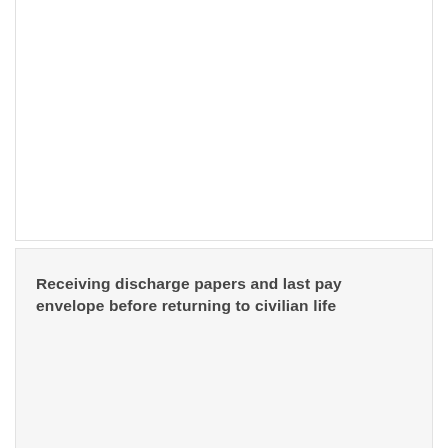[Figure (photo): Top card image area (white, partially visible at top of page)]
Receiving discharge papers and last pay envelope before returning to civilian life
View Details
No Comments
[Figure (photo): Bottom card image area (white, partially visible at bottom of page)]